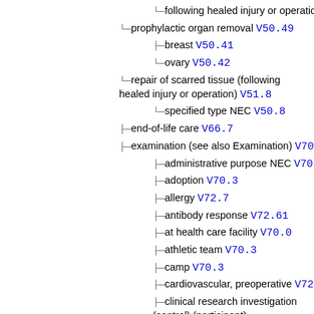following healed injury or operation V51.8
prophylactic organ removal V50.49
breast V50.41
ovary V50.42
repair of scarred tissue (following healed injury or operation) V51.8
specified type NEC V50.8
end-of-life care V66.7
examination (see also Examination) V70.9
administrative purpose NEC V70.3
adoption V70.3
allergy V72.7
antibody response V72.61
at health care facility V70.0
athletic team V70.3
camp V70.3
cardiovascular, preoperative V72.81
clinical research investigation (control) (participant) V70.7
dental V72.2
developmental testing (child) (infant) V20.2
donor (potential) V70.8
driver's license V70.3